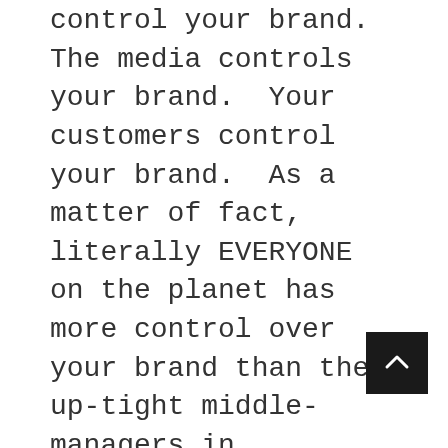control your brand.  The media controls your brand.  Your customers control your brand.  As a matter of fact, literally EVERYONE on the planet has more control over your brand than the up-tight middle-managers in Marketing painstakingly ensuring that text elements in an image were at least 20 pixels away from the corner of your logo, and that the brand's name had the proper kerning.
Remember when we talked about kerning?
Of course, by 2012, the idea of User